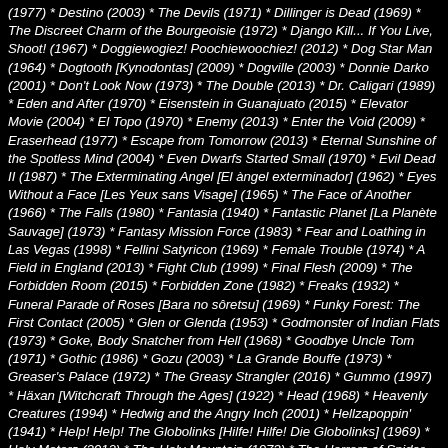(1977) * Destino (2003) * The Devils (1971) * Dillinger is Dead (1969) * The Discreet Charm of the Bourgeoisie (1972) * Django Kill... If You Live, Shoot! (1967) * Doggiewogiez! Poochiewoochiez! (2012) * Dog Star Man (1964) * Dogtooth [Kynodontas] (2009) * Dogville (2003) * Donnie Darko (2001) * Don't Look Now (1973) * The Double (2013) * Dr. Caligari (1989) * Eden and After (1970) * Eisenstein in Guanajuato (2015) * Elevator Movie (2004) * El Topo (1970) * Enemy (2013) * Enter the Void (2009) * Eraserhead (1977) * Escape from Tomorrow (2013) * Eternal Sunshine of the Spotless Mind (2004) * Even Dwarfs Started Small (1970) * Evil Dead II (1987) * The Exterminating Angel [El àngel exterminador] (1962) * Eyes Without a Face [Les Yeux sans Visage] (1965) * The Face of Another (1966) * The Falls (1980) * Fantasia (1940) * Fantastic Planet [La Planète Sauvage] (1973) * Fantasy Mission Force (1983) * Fear and Loathing in Las Vegas (1998) * Fellini Satyricon (1969) * Female Trouble (1974) * A Field in England (2013) * Fight Club (1999) * Final Flesh (2009) * The Forbidden Room (2015) * Forbidden Zone (1982) * Freaks (1932) * Funeral Parade of Roses [Bara no sôretsu] (1969) * Funky Forest: The First Contact (2005) * Glen or Glenda (1953) * Godmonster of Indian Flats (1973) * Goke, Body Snatcher from Hell (1968) * Goodbye Uncle Tom (1971) * Gothic (1986) * Gozu (2003) * La Grande Bouffe (1973) * Greaser's Palace (1972) * The Greasy Strangler (2016) * Gummo (1997) * Häxan [Witchcraft Through the Ages] (1922) * Head (1968) * Heavenly Creatures (1994) * Hedwig and the Angry Inch (2001) * Hellzapoppin' (1941) * Help! Help! The Globolinks [Hilfe! Hilfe! Die Globolinks] (1969) * Holy Motors (2012) * The Holy Mountain (1973) * The Horrors of Spider Island [Ein Toter hing im Netz] (1960) * The Householder Screaming (1978) * Hour of the Wolf...